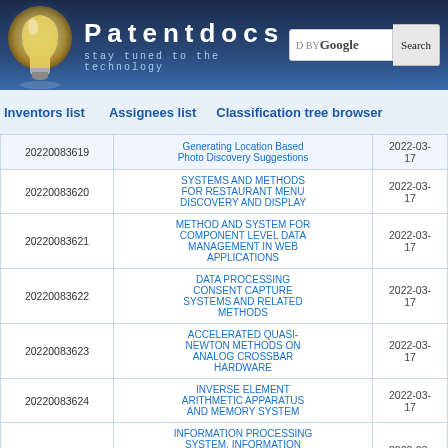Patentdocs — stay tuned to the technology
Inventors list | Assignees list | Classification tree browser
| Application Number | Title | Date |
| --- | --- | --- |
| 20220083619 | Generating Location Based Photo Discovery Suggestions | 2022-03-17 |
| 20220083620 | SYSTEMS AND METHODS FOR RESTAURANT MENU DISCOVERY AND DISPLAY | 2022-03-17 |
| 20220083621 | METHOD AND SYSTEM FOR COMPONENT LEVEL DATA MANAGEMENT IN WEB APPLICATIONS | 2022-03-17 |
| 20220083622 | DATA PROCESSING CONSENT CAPTURE SYSTEMS AND RELATED METHODS | 2022-03-17 |
| 20220083623 | ACCELERATED QUASI-NEWTON METHODS ON ANALOG CROSSBAR HARDWARE | 2022-03-17 |
| 20220083624 | INVERSE ELEMENT ARITHMETIC APPARATUS AND MEMORY SYSTEM | 2022-03-17 |
| 20220083625 | INFORMATION PROCESSING SYSTEM, INFORMATION PROCESSING METHOD, AND NON-TRANSITORY COMPUTER-READABLE | 2022-03-17 |